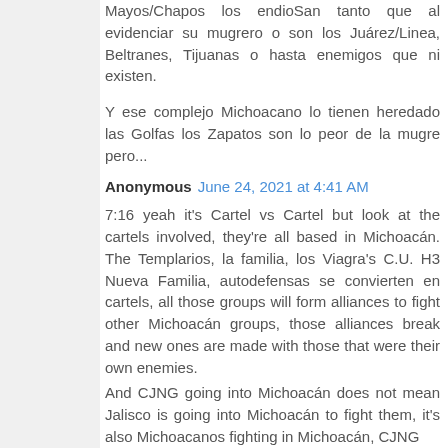Mayos/Chapos los endioSan tanto que al evidenciar su mugrero o son los Juárez/Linea, Beltranes, Tijuanas o hasta enemigos que ni existen.
Y ese complejo Michoacano lo tienen heredado las Golfas los Zapatos son lo peor de la mugre pero...
Anonymous June 24, 2021 at 4:41 AM
7:16 yeah it's Cartel vs Cartel but look at the cartels involved, they're all based in Michoacán. The Templarios, la familia, los Viagra's C.U. H3 Nueva Familia, autodefensas se convierten en cartels, all those groups will form alliances to fight other Michoacán groups, those alliances break and new ones are made with those that were their own enemies.
And CJNG going into Michoacán does not mean Jalisco is going into Michoacán to fight them, it's also Michoacanos fighting in Michoacán, CJNG